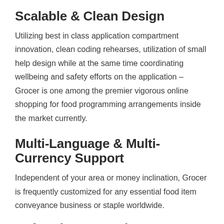Scalable & Clean Design
Utilizing best in class application compartment innovation, clean coding rehearses, utilization of small help design while at the same time coordinating wellbeing and safety efforts on the application – Grocer is one among the premier vigorous online shopping for food programming arrangements inside the market currently.
Multi-Language & Multi-Currency Support
Independent of your area or money inclination, Grocer is frequently customized for any essential food item conveyance business or staple worldwide.
Referral & Promotions
To improve the growth of the user base & overall